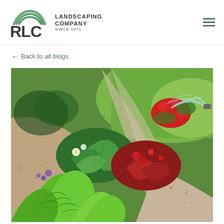RLC Landscaping Company Since 1971
← Back to all blogs
[Figure (photo): Garden landscape photo showing colorful flower beds with green hostas, red begonias, purple flowers, bright green pine shrubs, gravel paths, and a sprinkler spraying water over a manicured green lawn in the background.]